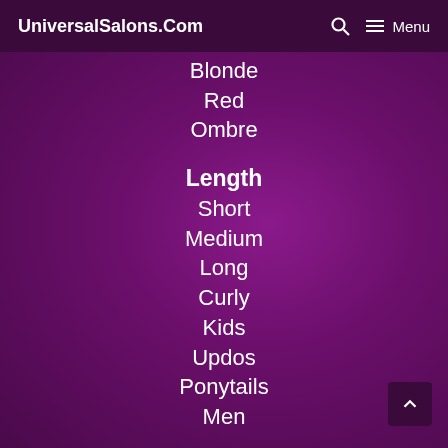UniversalSalons.Com  🔍  ☰ Menu
Blonde
Red
Ombre
Length
Short
Medium
Long
Curly
Kids
Updos
Ponytails
Men
Natural